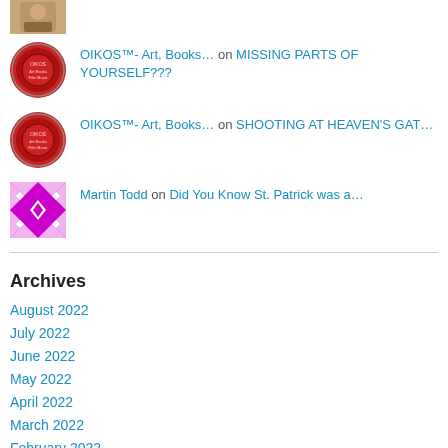[Figure (photo): Partial avatar image at top, showing a person]
OIKOS™- Art, Books… on MISSING PARTS OF YOURSELF???
OIKOS™- Art, Books… on SHOOTING AT HEAVEN'S GAT…
Martin Todd on Did You Know St. Patrick was a…
Archives
August 2022
July 2022
June 2022
May 2022
April 2022
March 2022
February 2022